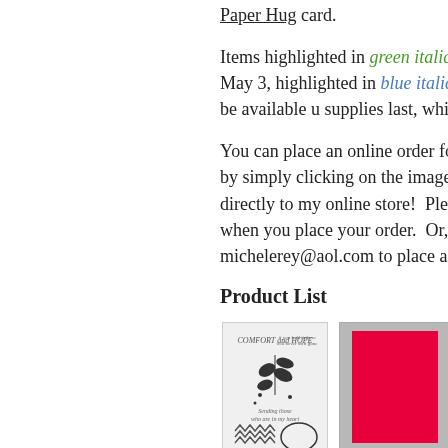Paper Hug card.
Items highlighted in green italics while supplies last or until May 3, highlighted in blue italics are in the Catalog. They will be available until supplies last, whichever comes first.
You can place an online order for by simply clicking on the image directly to my online store! Please when you place your order. Or, michelerey@aol.com to place an
Product List
[Figure (photo): Comfort & Hope Cling Stamp Set product image showing stamps with floral and text designs]
Comfort & Hope Cling Stamp Set
[Figure (photo): Poppy Parade 8-1/2" X 11" Cardstock product image showing a red cardstock swatch on gray background]
Poppy Parade 8-1/2" X 11" Cardstock